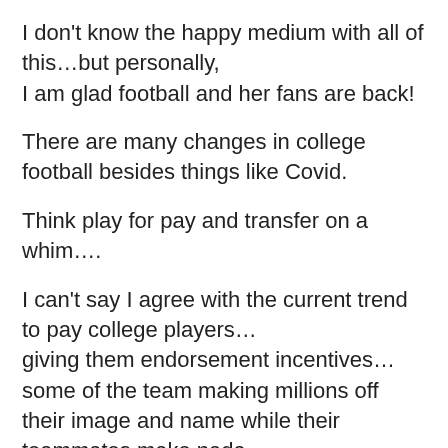I don't know the happy medium with all of this…but personally,
I am glad football and her fans are back!
There are many changes in college football besides things like Covid.
Think play for pay and transfer on a whim….
I can't say I agree with the current trend to pay college players…
giving them endorsement incentives…some of the team making millions off
their image and name while their teammates make nada.
I don't know how that won't build resentment…but what do I know.
Also I don't agree with the fixing of coaches in the middle…